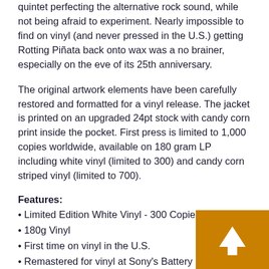quintet perfecting the alternative rock sound, while not being afraid to experiment. Nearly impossible to find on vinyl (and never pressed in the U.S.) getting Rotting Piñata back onto wax was a no brainer, especially on the eve of its 25th anniversary.
The original artwork elements have been carefully restored and formatted for a vinyl release. The jacket is printed on an upgraded 24pt stock with candy corn print inside the pocket. First press is limited to 1,000 copies worldwide, available on 180 gram LP including white vinyl (limited to 300) and candy corn striped vinyl (limited to 700).
Features:
• Limited Edition White Vinyl - 300 Copies
• 180g Vinyl
• First time on vinyl in the U.S.
• Remastered for vinyl at Sony's Battery Stu…
• Original artwork elements